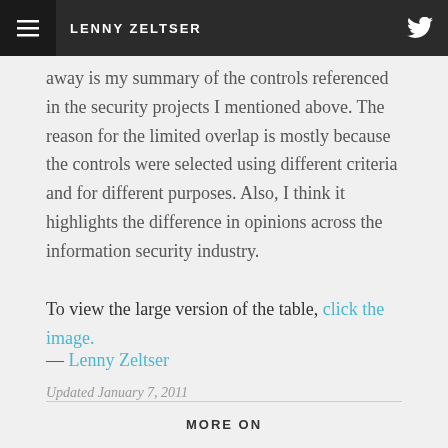LENNY ZELTSER
away is my summary of the controls referenced in the security projects I mentioned above. The reason for the limited overlap is mostly because the controls were selected using different criteria and for different purposes. Also, I think it highlights the difference in opinions across the information security industry.
To view the large version of the table, click the image.
— Lenny Zeltser
Updated January 7, 2011
MORE ON